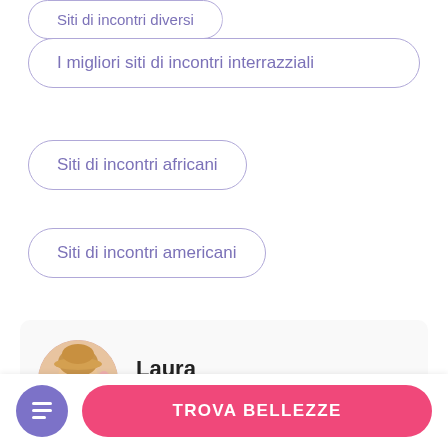I migliori siti di incontri interrazziali
Siti di incontri africani
Siti di incontri americani
[Figure (illustration): Author card with circular photo of a young woman with hat, name Laura, role MS, RD e scrittore]
Laura
MS, RD e scrittore
TROVA BELLEZZE